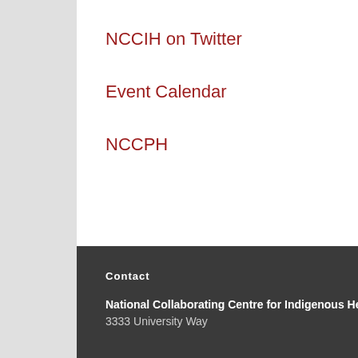NCCIH on Twitter
Event Calendar
NCCPH
Contact
National Collaborating Centre for Indigenous Health (NCCIH) 3333 University Way